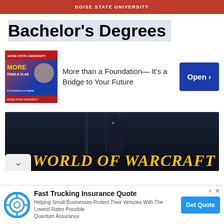BOISE STATE UNIVERSITY
Bachelor's Degrees
[Figure (photo): Boise State University advertisement with a woman and text 'MORE THAN A CLASSROOM']
More than a Foundation— It's a Bridge to Your Future
[Figure (screenshot): World of Warcraft game advertisement showing an armored character with title 'WORLD OF WARCRAFT']
[Figure (logo): Quantum Assurance circular blue logo]
Fast Trucking Insurance Quote
Helping Small Businesses Protect Their Vehicles With The Lowest Rates Possible Quantum Assurance